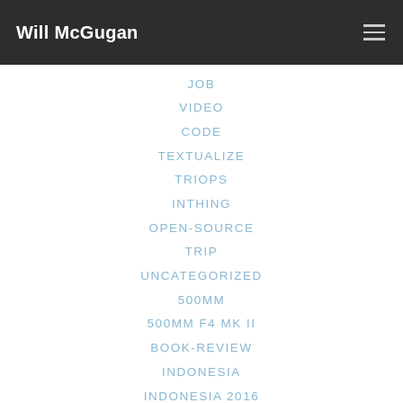Will McGugan
JOB
VIDEO
CODE
TEXTUALIZE
TRIOPS
INTHING
OPEN-SOURCE
TRIP
UNCATEGORIZED
500MM
500MM F4 MK II
BOOK-REVIEW
INDONESIA
INDONESIA 2016
LINKS-DESKTOP
LOMOND
NOTES
OXFORD
UBUNTU